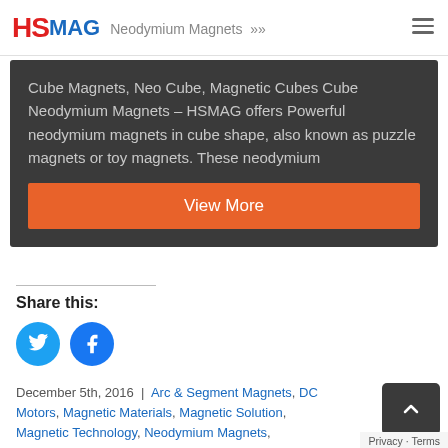HS MAG — Neodymium Magnets navigation header
Cube Magnets, Neo Cube, Magnetic Cubes Cube Neodymium Magnets – HSMAG offers Powerful neodymium magnets in cube shape, also known as puzzle magnets or toy magnets. These neodymium
View More
Share this:
[Figure (logo): Twitter bird icon (white on blue circle)]
[Figure (logo): Facebook f icon (white on blue circle)]
December 5th, 2016 | Arc & Segment Magnets, DC Motors, Magnetic Materials, Magnetic Solution, Magnetic Technology, Neodymium Magnets, Permanent Magnet Motor, Permanent Magnets, Rare Earth Magnets